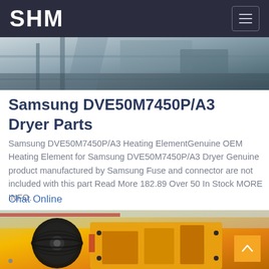SHM
[Figure (photo): Industrial machinery/equipment photo strip at top of page showing conveyor or mining equipment in grey tones]
Samsung DVE50M7450P/A3 Dryer Parts
Samsung DVE50M7450P/A3 Heating ElementGenuine OEM Heating Element for Samsung DVE50M7450P/A3 Dryer Genuine product manufactured by Samsung Fuse and connector are not included with this part Read More 182.89 Over 50 In Stock MORE INFO.
Chat Online
[Figure (photo): Industrial jaw crusher machine in yellow color with large pulley wheel, inside a factory/warehouse setting]